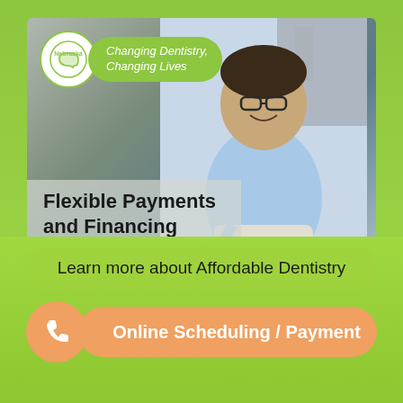[Figure (photo): Man smiling, wearing glasses and a light blue shirt, working on a tablet outdoors. Dental practice promotional image with logo badge and text overlay.]
Flexible Payments and Financing
Nebraska Family Dentistry (Lincoln, NE)
Learn more about Affordable Dentistry
Online Scheduling / Payment